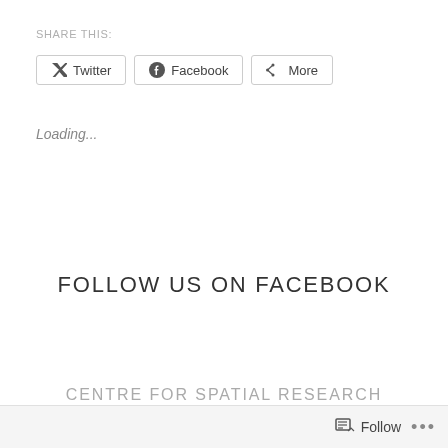SHARE THIS:
[Figure (screenshot): Social share buttons: Twitter, Facebook, More]
Loading...
FOLLOW US ON FACEBOOK
CENTRE FOR SPATIAL RESEARCH
[Figure (screenshot): WordPress follow widget bar with Follow button and ellipsis menu]